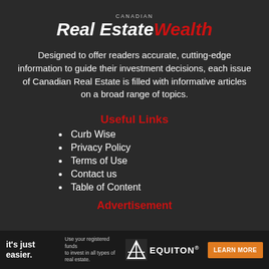[Figure (logo): Canadian Real Estate Wealth magazine logo — 'CANADIAN' in small caps above 'Real Estate' in white italic bold and 'Wealth' in red italic bold]
Designed to offer readers accurate, cutting-edge information to guide their investment decisions, each issue of Canadian Real Estate is filled with informative articles on a broad range of topics.
Useful Links
Curb Wise
Privacy Policy
Terms of Use
Contact us
Table of Content
Advertisement
[Figure (infographic): Advertisement banner for Equiton: 'it's just easier.' tagline on left, 'Use your registered funds to invest in all types of real estate.' text in middle, Equiton logo and 'LEARN MORE' orange button on right]